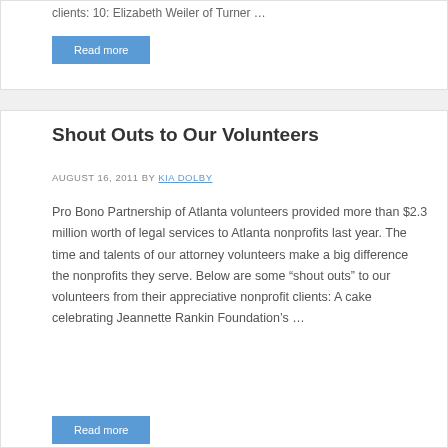clients: 10: Elizabeth Weiler of Turner …
Read more
Shout Outs to Our Volunteers
AUGUST 16, 2011 BY KIA DOLBY
Pro Bono Partnership of Atlanta volunteers provided more than $2.3 million worth of legal services to Atlanta nonprofits last year. The time and talents of our attorney volunteers make a big difference the nonprofits they serve. Below are some “shout outs” to our volunteers from their appreciative nonprofit clients: A cake celebrating Jeannette Rankin Foundation’s …
Read more